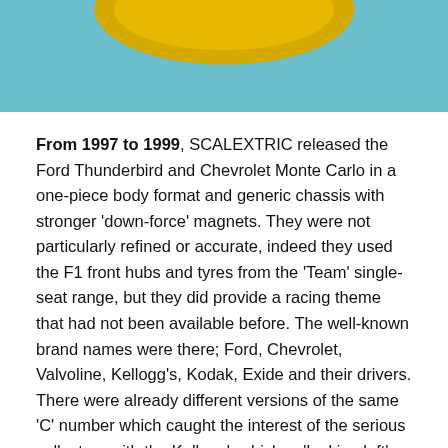[Figure (photo): Top portion of a toy car with yellow body against a teal/light blue background]
From 1997 to 1999, SCALEXTRIC released the Ford Thunderbird and Chevrolet Monte Carlo in a one-piece body format and generic chassis with stronger 'down-force' magnets. They were not particularly refined or accurate, indeed they used the F1 front hubs and tyres from the 'Team' single-seat range, but they did provide a racing theme that had not been available before. The well-known brand names were there; Ford, Chevrolet, Valvoline, Kellogg's, Kodak, Exide and their drivers. There were already different versions of the same 'C' number which caught the interest of the serious collectors with the Kellogg's chicken 'looking left' or 'right' on the famous number '5' car of Terry Labonte. With as many as fifty-plus cars on the famous US ovals and road courses.